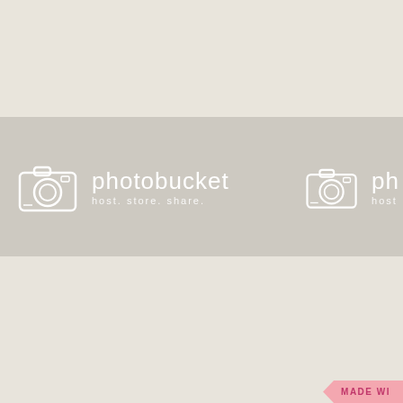[Figure (logo): Photobucket watermark overlay on a beige linen-textured background. Two Photobucket logos visible: one full (camera icon + 'photobucket' text + 'host. store. share.' tagline) and one partial on the right edge. A pink arrow banner reading 'MADE WI...' is visible in the bottom-right corner.]